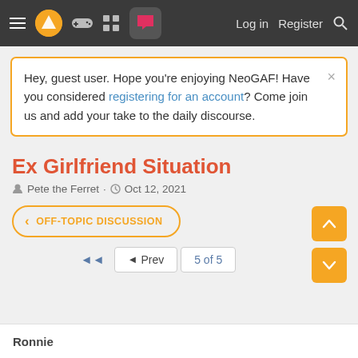NeoGAF navigation bar with hamburger menu, logo, game controller icon, grid icon, chat icon, Log in, Register, Search
Hey, guest user. Hope you're enjoying NeoGAF! Have you considered registering for an account? Come join us and add your take to the daily discourse.
Ex Girlfriend Situation
Pete the Ferret · Oct 12, 2021
OFF-TOPIC DISCUSSION
◄◄  ◄ Prev  5 of 5
Ronnie